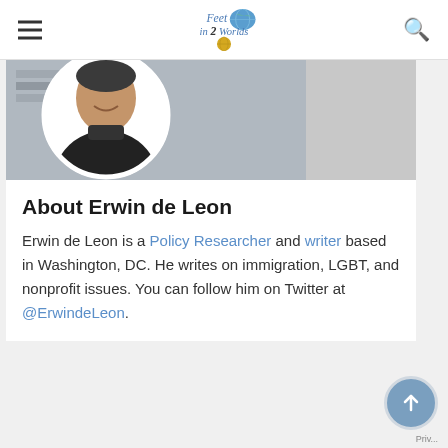Feet in 2 Worlds
[Figure (photo): Circular cropped photo of Erwin de Leon, a person wearing a black turtleneck sweater, smiling, with a background of shelves or equipment]
About Erwin de Leon
Erwin de Leon is a Policy Researcher and writer based in Washington, DC. He writes on immigration, LGBT, and nonprofit issues. You can follow him on Twitter at @ErwindeLeon.